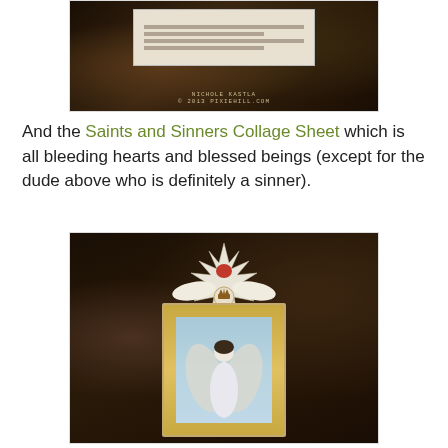[Figure (photo): A dark background photo showing what appears to be a decorative card or collage piece with patterned lines, set against a dark earthy background. A watermark with artist name and website is visible at the bottom.]
And the Saints and Sinners Collage Sheet which is all bleeding hearts and blessed beings (except for the dude above who is definitely a sinner).
[Figure (photo): A handmade shrine or shadow box art piece featuring an angel figure with wings in a blue panel, surrounded by an ornate golden beaded frame. Above the panel is a white star-burst crown with a red sacred heart, flanked by white dove wings and a circular medallion with a crown motif. The shrine sits against a dark earthy background.]